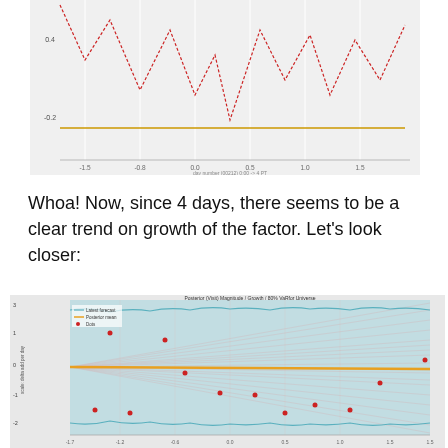[Figure (continuous-plot): Line chart (partially visible, cropped at top) showing a red dashed zigzag time series oscillating between about -0.2 and 0.4, with a horizontal orange/yellow baseline near y=0.2. X-axis labeled with day numbers around 1-5 to 1-7 range.]
Whoa! Now, since 4 days, there seems to be a clear trend on growth of the factor.  Let’s look closer:
[Figure (continuous-plot): Probabilistic forecast chart titled 'Posterior (visit) Magnitude / Growth / 80% VaRFor Universe' showing a teal/cyan shaded confidence band, multiple red/pink fan lines, a gold/orange trend line near y=0, and scattered red dot data points. Y-axis shows scaled delta values. Legend shows: Latest forecast, Posterior mean, Dots.]